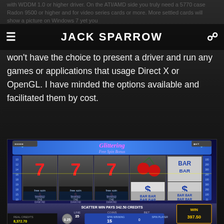JACK SPARROW
won't have the choice to present a driver and run any games or applications that usage Direct X or OpenGL. I have minded the options available and facilitated them by cost.
[Figure (screenshot): Screenshot of a slot machine game called 'Glittering Free Spin Bonus' showing reels with 7s, cherries, dollar signs, and BAR symbols. Bottom bar shows SCATTER WIN PAYS 342.50 CREDITS, WIN 397.50, REAL CREDITS 8,372.70, bet 0.25, SPIN WINNING 15, 0 SPIN PLAYER.]